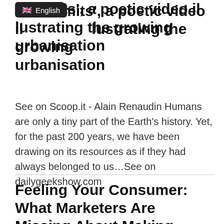limits', a poetic video illustrating the growing urbanisation
See on Scoop.it - Alain Renaudin Humans are only a tiny part of the Earth's history. Yet, for the past 200 years, we have been drawing on its resources as if they had always belonged to us…See on dailygeekshow.com
Feeling Your Consumer: What Marketers Are Missing About Making Emotional Connections